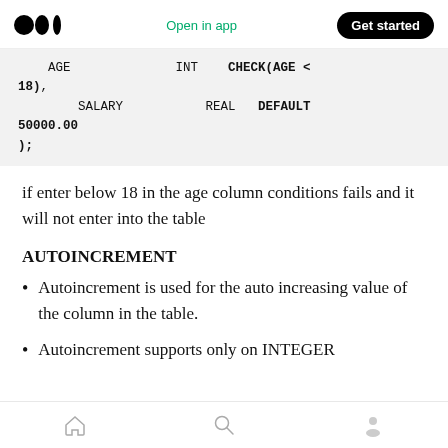Medium logo | Open in app | Get started
if enter below 18 in the age column conditions fails and it will not enter into the table
AUTOINCREMENT
Autoincrement is used for the auto increasing value of the column in the table.
Autoincrement supports only on INTEGER
Home | Search | Profile